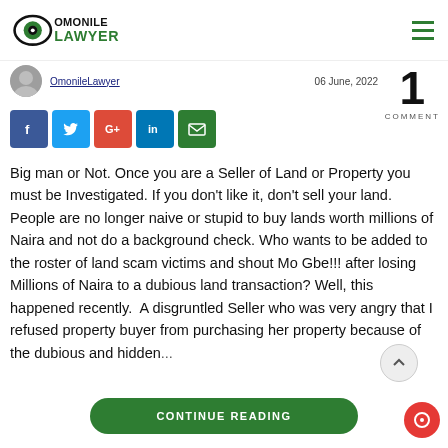[Figure (logo): OmonileLawyer logo with eye icon and bold green text]
OmonileLawyer
06 June, 2022
1
COMMENT
[Figure (other): Social share buttons: Facebook, Twitter, Google+, LinkedIn, Email]
Big man or Not. Once you are a Seller of Land or Property you must be Investigated. If you don't like it, don't sell your land. People are no longer naive or stupid to buy lands worth millions of Naira and not do a background check. Who wants to be added to the roster of land scam victims and shout Mo Gbe!!! after losing Millions of Naira to a dubious land transaction? Well, this happened recently.  A disgruntled Seller who was very angry that I refused property buyer from purchasing her property because of the dubious and hidden...
CONTINUE READING